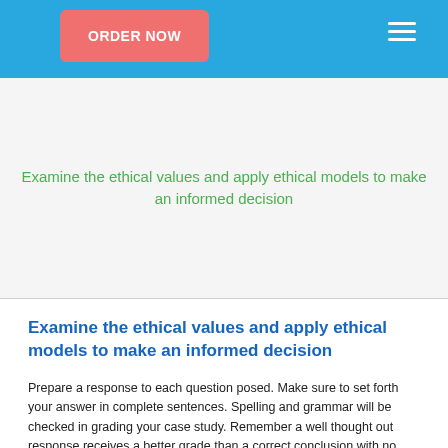ORDER NOW
Examine the ethical values and apply ethical models to make an informed decision
Examine the ethical values and apply ethical models to make an informed decision
Prepare a response to each question posed.  Make sure to set forth your answer in complete sentences.  Spelling and grammar will be checked in grading your case study. Remember a well thought out response receives a better grade than a correct conclusion with no reasoning provided.  The only resource you should use (and I expect to be used) for this essay